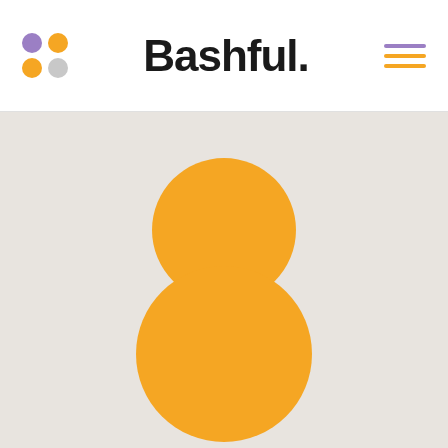Bashful.
[Figure (logo): Bashful brand logo page with header containing four colored dots (purple, orange, orange, gray), the brand name 'Bashful.' in bold sans-serif, and a hamburger menu icon with purple and orange lines. Main content area has a light beige/gray background with two large orange circles stacked vertically, the top one slightly smaller than the bottom one.]